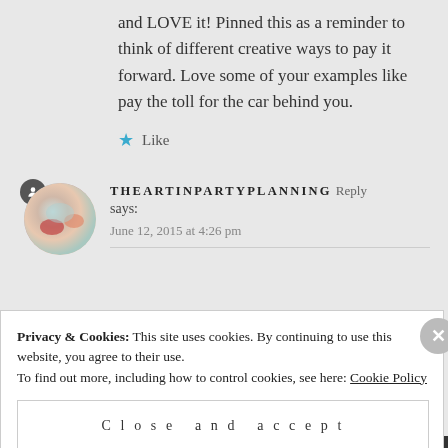and LOVE it! Pinned this as a reminder to think of different creative ways to pay it forward. Love some of your examples like pay the toll for the car behind you.
★ Like
THEARTINPARTYPLANNING Reply says: June 12, 2015 at 4:26 pm
Privacy & Cookies: This site uses cookies. By continuing to use this website, you agree to their use. To find out more, including how to control cookies, see here: Cookie Policy
Close and accept